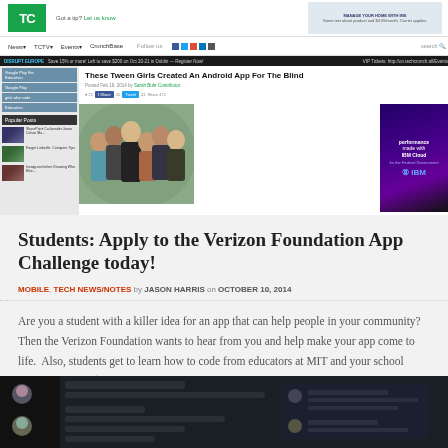[Figure (screenshot): TechCrunch website screenshot showing article 'These Tween Girls Created An Android App For The Blind' with navigation bar, sidebar, article photo of six tween girls, and IBM Cloud advertisement]
Students: Apply to the Verizon Foundation App Challenge today!
MOBILE, TECH NEWS/NOTES by JASON HARRIS on OCTOBER 10, 2014
Are you a student with a killer idea for an app that can help people in your community? Then the Verizon Foundation wants to hear from you and help make your app come to life.  Also, students get to learn how to code from educators at MIT and your school might win up to $20,000…
[Figure (screenshot): Partial screenshot of a Twitter page showing profile photos and tweets, dark background]